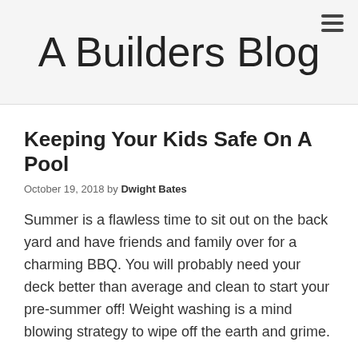A Builders Blog
Keeping Your Kids Safe On A Pool
October 19, 2018 by Dwight Bates
Summer is a flawless time to sit out on the back yard and have friends and family over for a charming BBQ. You will probably need your deck better than average and clean to start your pre-summer off! Weight washing is a mind blowing strategy to wipe off the earth and grime.